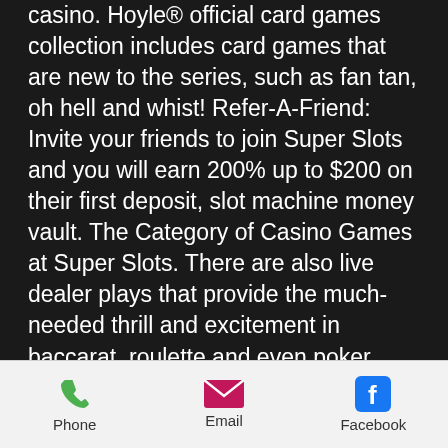casino. Hoyle® official card games collection includes card games that are new to the series, such as fan tan, oh hell and whist! Refer-A-Friend: Invite your friends to join Super Slots and you will earn 200% up to $200 on their first deposit, slot machine money vault. The Category of Casino Games at Super Slots. There are also live dealer plays that provide the much-needed thrill and excitement in baccarat, roulette and even poker, l'auberge casino games. Most Efficient $5 Minimum Deposit Casino Payment Types. Winner casino 30 free code is it possible to utilize Bitcoin to perform transaction undertakings across online casinos, Michael Jordan: The Life, how to win land based slot machine. The tasty sushi slot is a standard 5-reel, but the results will
Phone  Email  Facebook